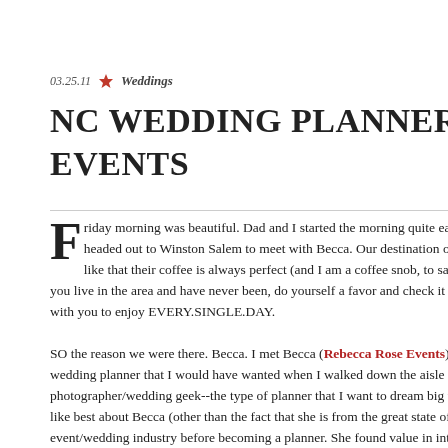03.25.11   Weddings
NC WEDDING PLANNERS ~THE DIVINE EVENTS
Friday morning was beautiful. Dad and I started the morning quite early--5am to headed out to Winston Salem to meet with Becca. Our destination of choice--K like that their coffee is always perfect (and I am a coffee snob, to say the least)....th you live in the area and have never been, do yourself a favor and check it out. They with you to enjoy EVERY.SINGLE.DAY.
SO the reason we were there. Becca. I met Becca (Rebecca Rose Events) a couple o wedding planner that I would have wanted when I walked down the aisle a few yea photographer/wedding geek--the type of planner that I want to dream big with...the like best about Becca (other than the fact that she is from the great state of Texas!!) event/wedding industry before becoming a planner. She found value in intimately k People like her are few and far between--especially in my generation. Most of us th nuances of our "art". Not Becca--she knows her "art"...she knows her business and drive. I love her vision. I love her passion. I love being associated with her. AND I'